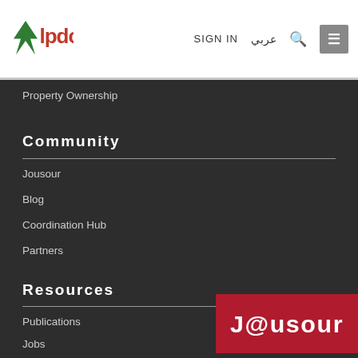[Figure (logo): LPDC logo with green tree/arrow and red text]
SIGN IN
عربي
Property Ownership
Community
Jousour
Blog
Coordination Hub
Partners
Resources
Publications
Jobs
[Figure (logo): Jousour logo on red background]
About LPDC